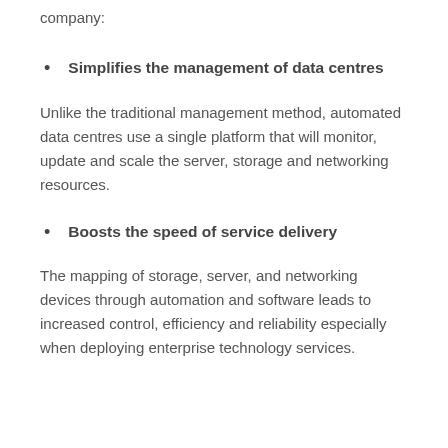company:
Simplifies the management of data centres
Unlike the traditional management method, automated data centres use a single platform that will monitor, update and scale the server, storage and networking resources.
Boosts the speed of service delivery
The mapping of storage, server, and networking devices through automation and software leads to increased control, efficiency and reliability especially when deploying enterprise technology services.